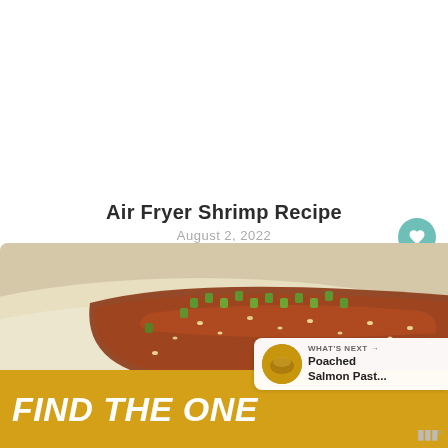Air Fryer Shrimp Recipe
August 2, 2022
[Figure (photo): Food photo showing glazed salmon or shrimp on rice with sesame seeds and green onions]
[Figure (photo): What's Next panel showing Poached Salmon Past... thumbnail with circular food image]
[Figure (infographic): Advertisement banner with text FIND THE ONE and a dog photo, yellow/gold background]